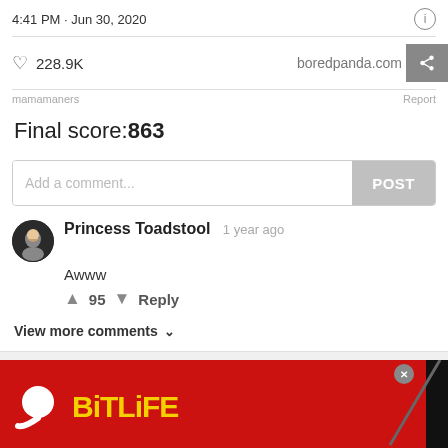4:41 PM · Jun 30, 2020
228.9K   boredpanda.com
mamamaners   Report
Final score:863
Add a comment...   POST
Princess Toadstool  1 year ago
Awww
↑ 95 ↓ Reply
View more comments ∨
[Figure (screenshot): BitLife advertisement banner with red background, BitLife logo with sperm icon and yellow text, and Murder/Do it! game prompt on right side]